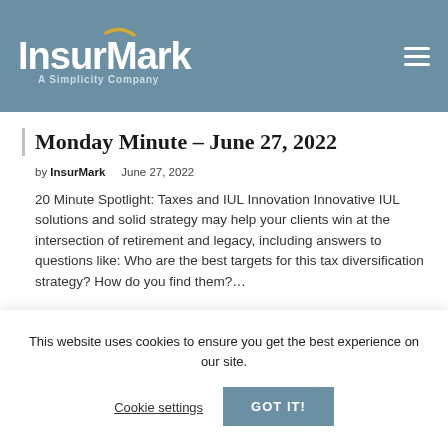InsurMark – A Simplicity Company
Monday Minute – June 27, 2022
by InsurMark   June 27, 2022
20 Minute Spotlight: Taxes and IUL Innovation Innovative IUL solutions and solid strategy may help your clients win at the intersection of retirement and legacy, including answers to questions like: Who are the best targets for this tax diversification strategy? How do you find them?…
This website uses cookies to ensure you get the best experience on our site.
Cookie settings   GOT IT!